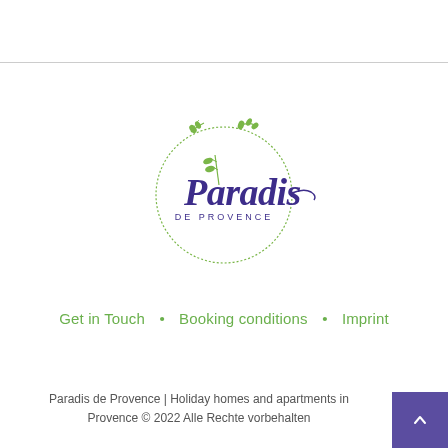[Figure (logo): Paradis de Provence logo with circular olive branch wreath and script text]
Get in Touch  •  Booking conditions  •  Imprint
Paradis de Provence | Holiday homes and apartments in Provence © 2022 Alle Rechte vorbehalten